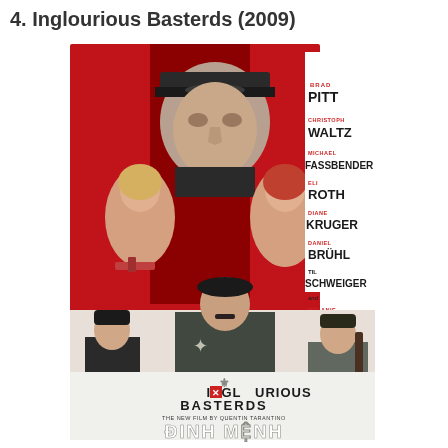4. Inglourious Basterds (2009)
[Figure (photo): Movie poster for Inglourious Basterds (2009) directed by Quentin Tarantino. Features cast members Brad Pitt, Christoph Waltz, Michael Fassbender, Eli Roth, Diane Kruger, Daniel Bruhl, Til Schweiger, and Melanie Laurent. Central figure is Brad Pitt in military uniform. Background is red with a large Nazi officer looming behind. Cast names listed on the right side. At the bottom the title 'INGLOURIOUS BASTERDS - THE NEW FILM BY QUENTIN TARANTINO' and text 'DINH MENH' in large white letters.]